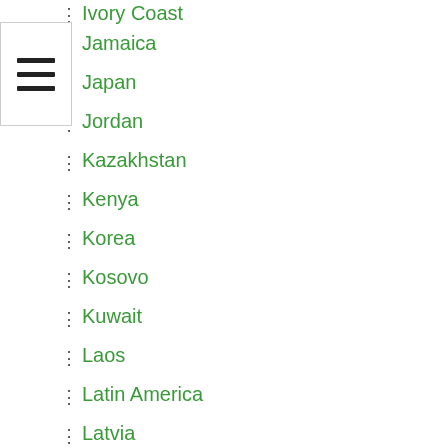[Figure (other): Hamburger menu icon with three horizontal bars]
Ivory Coast
Jamaica
Japan
Jordan
Kazakhstan
Kenya
Korea
Kosovo
Kuwait
Laos
Latin America
Latvia
Lebanon
Liberia
Lithuania
Luxembourg
Macedonia
Madagascar
Malawi
Malaysia
Mali
Malta
Marshall Islands
Mauritius